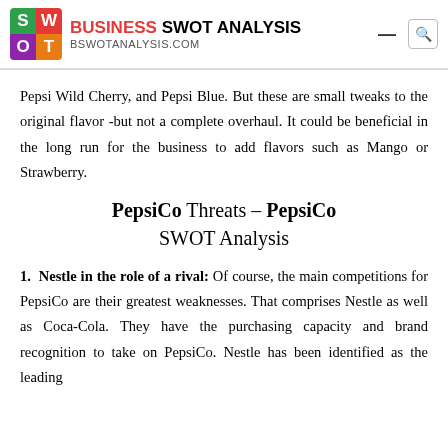BUSINESS SWOT ANALYSIS — bswotanalysis.com
Pepsi Wild Cherry, and Pepsi Blue. But these are small tweaks to the original flavor -but not a complete overhaul. It could be beneficial in the long run for the business to add flavors such as Mango or Strawberry.
PepsiCo Threats – PepsiCo SWOT Analysis
1. Nestle in the role of a rival: Of course, the main competitions for PepsiCo are their greatest weaknesses. That comprises Nestle as well as Coca-Cola. They have the purchasing capacity and brand recognition to take on PepsiCo. Nestle has been identified as the leading